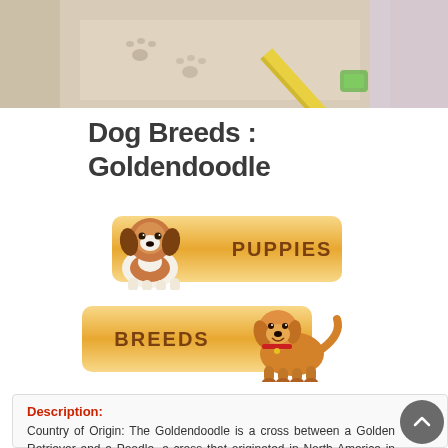[Figure (photo): Photo of puppy paw prints on a light beige surface with a yellow pencil or ruler diagonal across the image]
Dog Breeds : Goldendoodle
[Figure (illustration): Orange/golden button with PUPPIES text and cartoon beagle puppy illustration overlapping the left side]
[Figure (illustration): Orange/golden button with BREEDS text and cartoon golden dog illustration overlapping the right side]
Description:
Country of Origin: The Goldendoodle is a cross between a Golden Retriever and a Poodle, a cross that originated in North America in the late 1990's. Poodle crossbreeds are meant to produce a dog